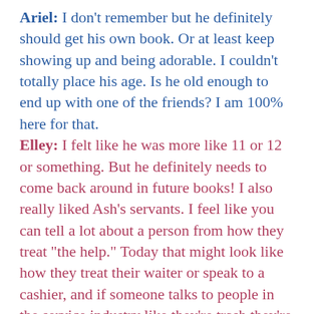Ariel: I don't remember but he definitely should get his own book. Or at least keep showing up and being adorable. I couldn't totally place his age. Is he old enough to end up with one of the friends? I am 100% here for that.
Elley: I felt like he was more like 11 or 12 or something. But he definitely needs to come back around in future books! I also really liked Ash's servants. I feel like you can tell a lot about a person from how they treat "the help." Today that might look like how they treat their waiter or speak to a cashier, and if someone talks to people in the service industry like they're trash they're most likely not a keeper. I